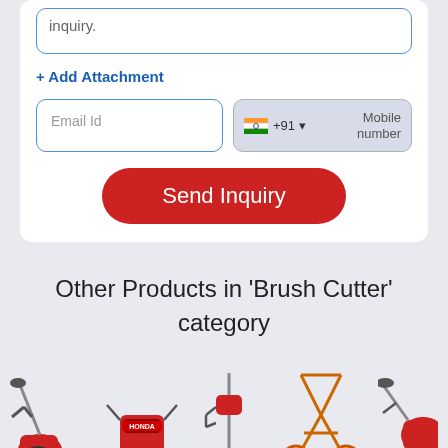inquiry.
+ Add Attachment
Email Id
+91 Mobile number
Send Inquiry
Other Products in 'Brush Cutter' category
[Figure (photo): Five brush cutter product thumbnails displayed in a horizontal grid at the bottom of the page]